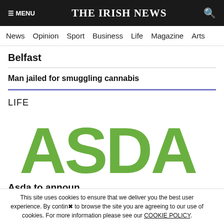THE IRISH NEWS
News | Opinion | Sport | Business | Life | Magazine | Arts
Belfast
Man jailed for smuggling cannabis
LIFE
[Figure (logo): ASDA logo in large green bold text]
Asda to announce...
This site uses cookies to ensure that we deliver you the best user experience. By continuing to browse the site you are agreeing to our use of cookies. For more information please see our COOKIE POLICY.